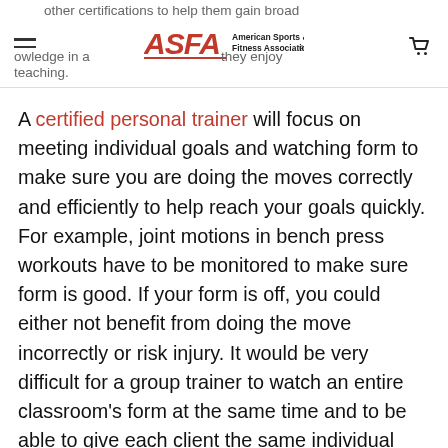ASFA - American Sports & Fitness Association
other certifications to help them gain broad knowledge in areas they enjoy teaching.
A certified personal trainer will focus on meeting individual goals and watching form to make sure you are doing the moves correctly and efficiently to help reach your goals quickly. For example, joint motions in bench press workouts have to be monitored to make sure form is good. If your form is off, you could either not benefit from doing the move incorrectly or risk injury. It would be very difficult for a group trainer to watch an entire classroom's form at the same time and to be able to give each client the same individual help at the same time. A personal trainer can spend 100% of their attention on your form to keep you injury free.